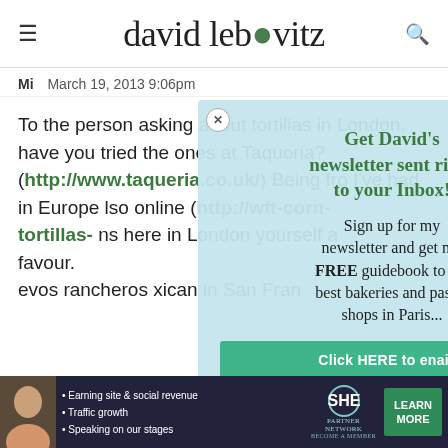david lebovitz
Mi    March 19, 2013 9:06pm
To the person asking about tortillas in London, have you tried the ones at Taquoria? (http://www.taqueria.co.uk/) Being fro... I've had in Europe... lso online (http://w... ft-corn-tortillas-... ns here in London... yourself a favour. ...evos rancheros... xican in San Fran...
[Figure (infographic): Newsletter signup modal overlay with close button, headline 'Get David's newsletter sent right to your Inbox!', body text 'Sign up for my newsletter and get my FREE guidebook to the best bakeries and pastry shops in Paris...', and a green 'Click HERE to...' button]
[Figure (infographic): SHE Partner Network advertisement banner at bottom with woman photo, bullet points about earning site & social revenue, traffic growth, speaking on stages, SHE logo, and LEARN MORE button]